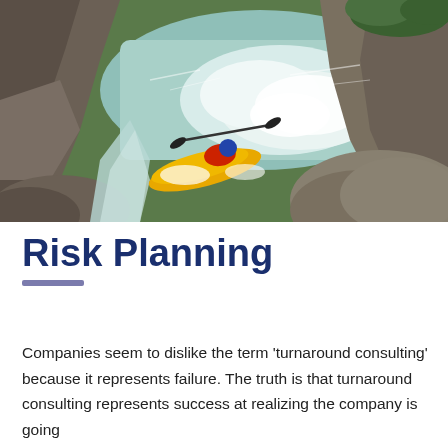[Figure (photo): Aerial view of a kayaker in a yellow kayak navigating turbulent whitewater rapids through a rocky canyon gorge with green and turquoise water.]
Risk Planning
Companies seem to dislike the term 'turnaround consulting' because it represents failure. The truth is that turnaround consulting represents success at realizing the company is going